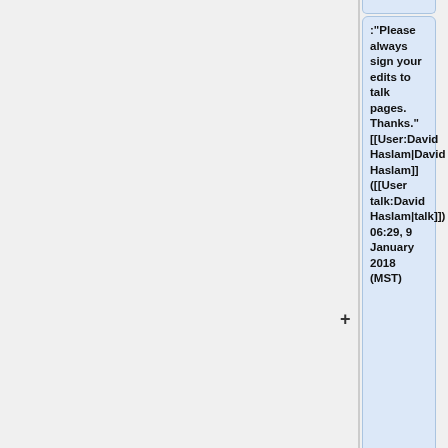:"Please always sign your edits to talk pages. Thanks." [[User:David Haslam|David Haslam]] ([[User talk:David Haslam|talk]]) 06:29, 9 January 2018 (MST)
== Nightmare page ==
This page is essentially useless. It is